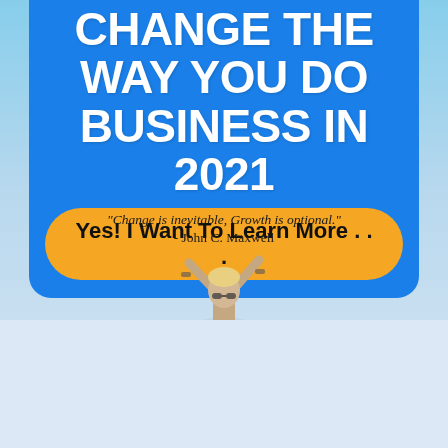CHANGE THE WAY YOU DO BUSINESS IN 2021
Yes!  I Want To Learn More . . .
"Change is inevitable, Growth is optional."
- John C. Maxwell
[Figure (photo): Person with arms raised in celebration against a light blue sky background]
Hi, Got a Question?
3 Secrets That Your #1 Competitor Doesn't Want You To Know...